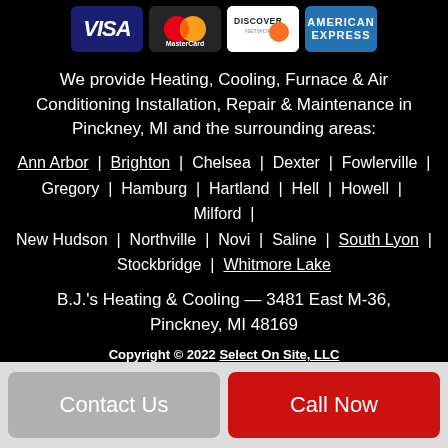[Figure (logo): Four payment card logos: VISA, MasterCard, Discover, American Express]
We provide Heating, Cooling, Furnace & Air Conditioning Installation, Repair & Maintenance in Pinckney, MI and the surrounding areas:
Ann Arbor | Brighton | Chelsea | Dexter | Fowlerville | Gregory | Hamburg | Hartland | Hell | Howell | Milford | New Hudson | Northville | Novi | Saline | South Lyon | Stockbridge | Whitmore Lake
B.J.'s Heating & Cooling — 3481 East M-36, Pinckney, MI 48169
Copyright © 2022 Select On Site, LLC
Site design and code are property of Select On Site, LLC
Product logos and images are the property of their respective manufacturers
Contact Us
Call Now